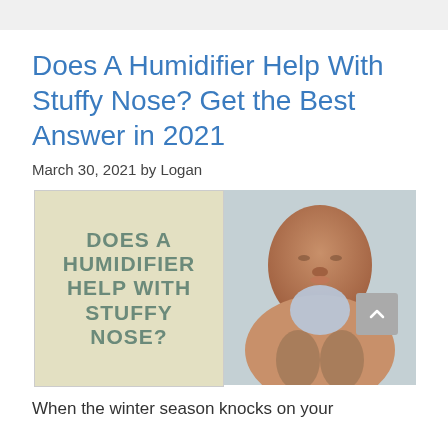Does A Humidifier Help With Stuffy Nose? Get the Best Answer in 2021
March 30, 2021 by Logan
[Figure (photo): Left: illustrated text graphic with green bold text on cream/tan textured background reading 'DOES A HUMIDIFIER HELP WITH STUFFY NOSE?'. Right: photo of a woman with eyes closed resting her face in her hands, blurred light background.]
When the winter season knocks on your